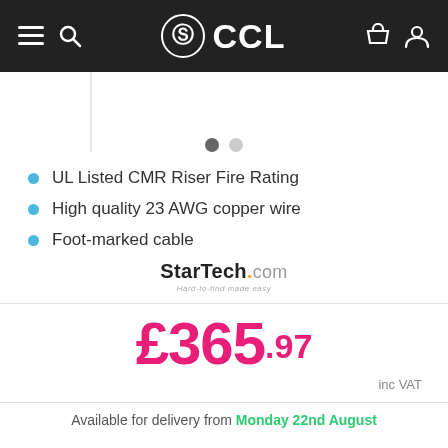CCL
UL Listed CMR Riser Fire Rating
High quality 23 AWG copper wire
Foot-marked cable
[Figure (logo): StarTech.com logo with tagline 'Hard-to-find made easy']
£365.97
inc VAT
Available for delivery from Monday 22nd August